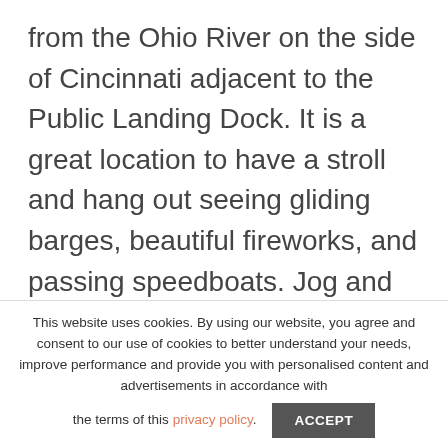from the Ohio River on the side of Cincinnati adjacent to the Public Landing Dock. It is a great location to have a stroll and hang out seeing gliding barges, beautiful fireworks, and passing speedboats. Jog and play with your kids here. It is a perfect picnic spot to climb up the steps and walk down. Also, climb to the top, walk eastwards having the River Walk, and observe the spectacular Cincinnatus statue adiacent to the Sawver Point.
This website uses cookies. By using our website, you agree and consent to our use of cookies to better understand your needs, improve performance and provide you with personalised content and advertisements in accordance with the terms of this privacy policy.